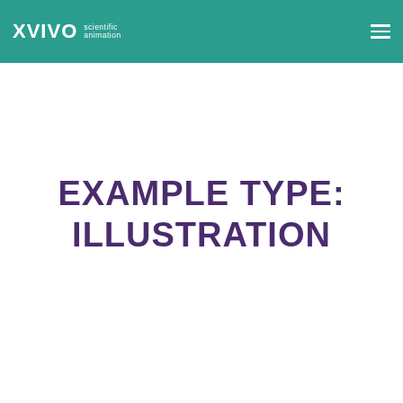XVIVO scientific animation
EXAMPLE TYPE: ILLUSTRATION